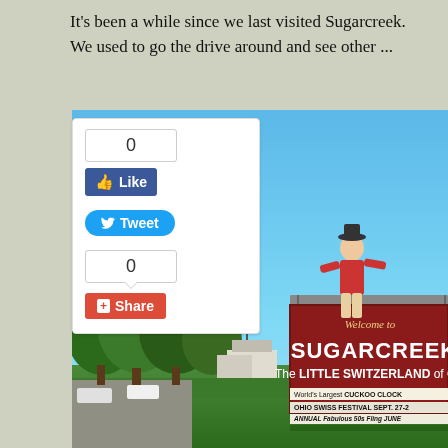It's been a while since we last visited Sugarcreek.  We used to go the drive around and see other ...
[Figure (photo): Photo of the Welcome to Sugarcreek sign reading 'Welcome to SUGARCREEK The LITTLE SWITZERLAND of OH' with a giant figure on top, surrounded by trees and grass under blue sky. Social media widgets (Like, Tweet, Share) overlaid on the left side.]